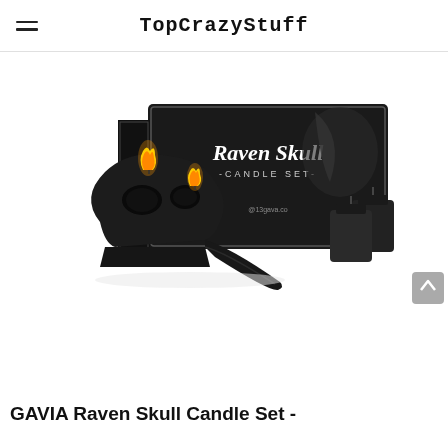TopCrazyStuff
[Figure (photo): Product photo of GAVIA Raven Skull Candle Set showing a black raven skull-shaped candle holder with lit flames, two small black votive candles, and a black gift box with 'Raven Skull Candle Set' text on white background]
GAVIA Raven Skull Candle Set -